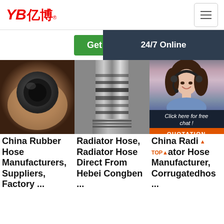[Figure (logo): YB 亿博 logo in red with registered trademark symbol]
[Figure (screenshot): Hamburger menu button (three horizontal lines) in top right corner]
[Figure (infographic): Green 'Get Price' button and partially visible second green button with dark overlay showing '24/7 Online']
[Figure (photo): Photo of a rubber hose end held in a hand, showing the circular cross-section]
[Figure (photo): Photo of a metal radiator hose with spiral wiring visible on stainless steel connector]
[Figure (photo): Photo of a braided/woven hose product, partially covered by customer service overlay showing woman with headset and 'Click here for free chat!' and QUOTATION button]
China Rubber Hose Manufacturers, Suppliers, Factory ...
Radiator Hose, Radiator Hose Direct From Hebei Congben ...
China Radiator Hose Manufacturer, Corrugatedhos ...